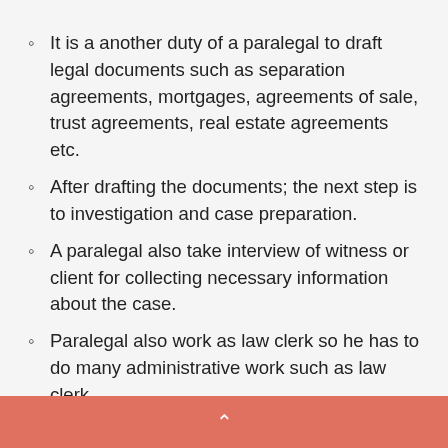It is a another duty of a paralegal to draft legal documents such as separation agreements, mortgages, agreements of sale, trust agreements, real estate agreements etc.
After drafting the documents; the next step is to investigation and case preparation.
A paralegal also take interview of witness or client for collecting necessary information about the case.
Paralegal also work as law clerk so he has to do many administrative work such as law clerk.
^